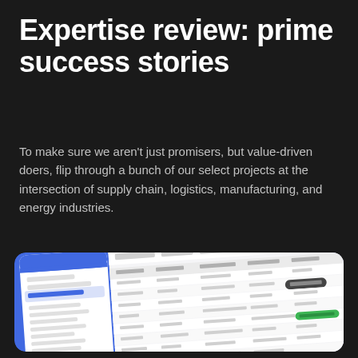Expertise review: prime success stories
To make sure we aren't just promisers, but value-driven doers, flip through a bunch of our select projects at the intersection of supply chain, logistics, manufacturing, and energy industries.
[Figure (screenshot): A screenshot of a web application dashboard/table interface shown at an angle on a blue background. The interface shows a sidebar navigation on the left with blue highlighted items, and a main content area with a data table containing rows and columns of information. A green button is visible in the lower right area of the table.]